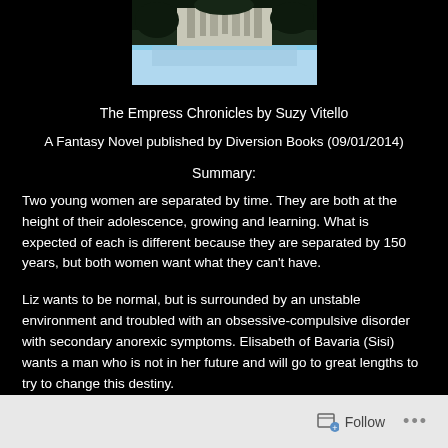[Figure (photo): Inverted/reflected image of a castle or palace building with trees, appearing upside-down against a blue sky, on black background]
The Empress Chronicles by Suzy Vitello
A Fantasy Novel published by Diversion Books (09/01/2014)
Summary:
Two young women are separated by time. They are both at the height of their adolescence, growing and learning. What is expected of each is different because they are separated by 150 years, but both women want what they can't have.
Liz wants to be normal, but is surrounded by an unstable environment and troubled with an obsessive-compulsive disorder with secondary anorexic symptoms. Elisabeth of Bavaria (Sisi) wants a man who is not in her future and will go to great lengths to try to change this destiny.
Follow ...